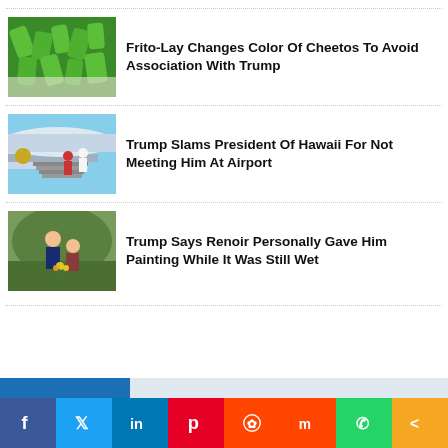[Figure (photo): Partial image stub at top (cropped)]
Frito-Lay Changes Color Of Cheetos To Avoid Association With Trump
Trump Slams President Of Hawaii For Not Meeting Him At Airport
Trump Says Renoir Personally Gave Him Painting While It Was Still Wet
[Figure (infographic): Social sharing bar with Facebook, Twitter, LinkedIn, Pinterest, Reddit, Mix, WhatsApp, and share buttons]